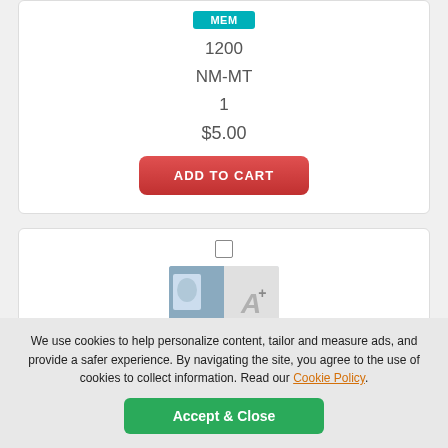MEM
1200
NM-MT
1
$5.00
ADD TO CART
[Figure (photo): 2005 Prime Patches Major League Materials Autograph card image thumbnail]
2005 Prime Patches Major League Materials Autograph #44
We use cookies to help personalize content, tailor and measure ads, and provide a safer experience. By navigating the site, you agree to the use of cookies to collect information. Read our Cookie Policy.
Accept & Close